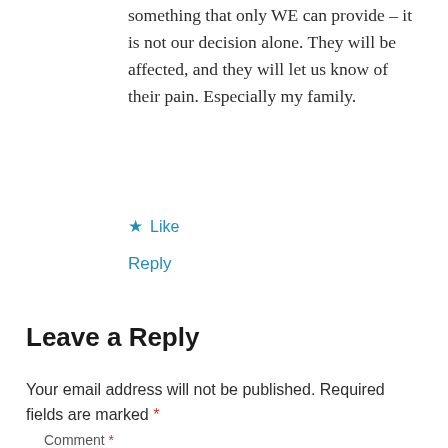something that only WE can provide – it is not our decision alone. They will be affected, and they will let us know of their pain. Especially my family.
★ Like
Reply
Leave a Reply
Your email address will not be published. Required fields are marked *
Comment *